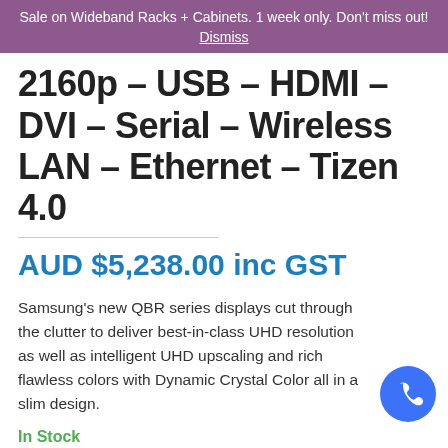Sale on Wideband Racks + Cabinets. 1 week only. Don't miss out! Dismiss
2160p – USB – HDMI – DVI – Serial – Wireless LAN – Ethernet – Tizen 4.0
AUD $5,238.00 inc GST
Samsung's new QBR series displays cut through the clutter to deliver best-in-class UHD resolution as well as intelligent UHD upscaling and rich flawless colors with Dynamic Crystal Color all in a slim design.
In Stock